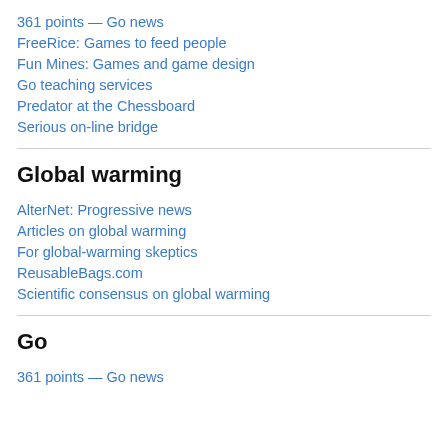361 points — Go news
FreeRice: Games to feed people
Fun Mines: Games and game design
Go teaching services
Predator at the Chessboard
Serious on-line bridge
Global warming
AlterNet: Progressive news
Articles on global warming
For global-warming skeptics
ReusableBags.com
Scientific consensus on global warming
Go
361 points — Go news